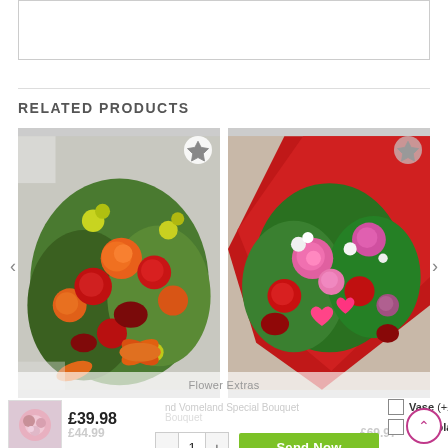[Figure (other): Empty white box with border at top of page]
RELATED PRODUCTS
[Figure (photo): Red and orange flower bouquet with roses, lilies, and chrysanthemums]
[Figure (photo): Pink and red special bouquet with heart decorations and mixed flowers]
Flower Extras
[Figure (photo): Small thumbnail of a pink and white flower bouquet]
£39.98
Vase (+£10.00)
Chocolate Box (+£7.50)
- 1 +
Send Now